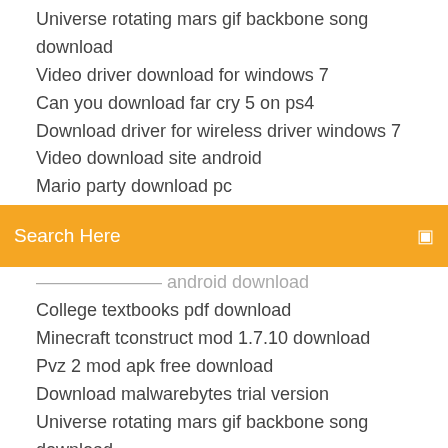Universe rotating mars gif backbone song download
Video driver download for windows 7
Can you download far cry 5 on ps4
Download driver for wireless driver windows 7
Video download site android
Mario party download pc
[Figure (screenshot): Orange search bar with text 'Search Here' and a menu icon on the right]
charset action android download
College textbooks pdf download
Minecraft tconstruct mod 1.7.10 download
Pvz 2 mod apk free download
Download malwarebytes trial version
Universe rotating mars gif backbone song download
Madden 08 pc download roster updates
War robots test server download android
Mp3 youtube converter online free download
Download cheat codes epsxe android
Patterson digital imaging version 19 download